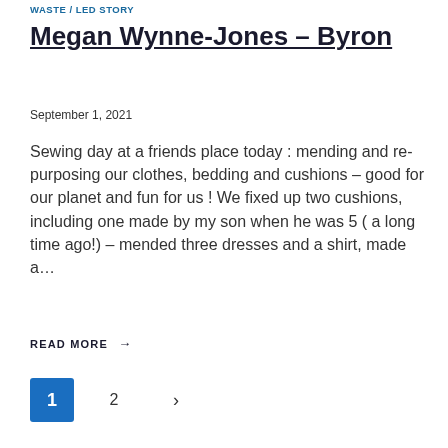WASTE / LED STORY
Megan Wynne-Jones – Byron
September 1, 2021
Sewing day at a friends place today : mending and re-purposing our clothes, bedding and cushions – good for our planet and fun for us ! We fixed up two cushions, including one made by my son when he was 5 ( a long time ago!) – mended three dresses and a shirt, made a…
READ MORE →
1 2 >